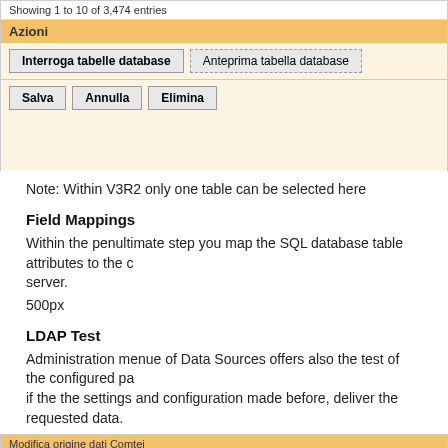[Figure (screenshot): Web UI screenshot showing 'Showing 1 to 10 of 3,474 entries' bar, Azioni section with buttons 'Interroga tabelle database' and 'Anteprima tabella database', and action buttons Salva, Annulla, Elimina on an orange/beige background]
Note: Within V3R2 only one table can be selected here
Field Mappings
Within the penultimate step you map the SQL database table attributes to the o server.
500px
LDAP Test
Administration menue of Data Sources offers also the test of the configured pa if the the settings and configuration made before, deliver the requested data.
[Figure (screenshot): Web UI screenshot showing Modifica origine dati Comtei with tabs Database, Tabella database, Mappatore campi, Conversione numero, Test LDAP (active). Shows Risultati della ricerca LDAP table with columns id, mail, telephoneNumber and rows sql_Comtei_491, sql_Comtei_492, sql_Comtei_492 with some redacted telephone data.]